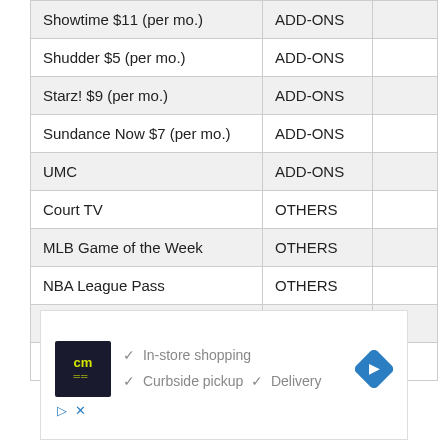|  |  |  |
| --- | --- | --- |
| Showtime $11 (per mo.) | ADD-ONS |  |
| Shudder $5 (per mo.) | ADD-ONS |  |
| Starz! $9 (per mo.) | ADD-ONS |  |
| Sundance Now $7 (per mo.) | ADD-ONS |  |
| UMC | ADD-ONS |  |
| Court TV | OTHERS |  |
| MLB Game of the Week | OTHERS |  |
| NBA League Pass | OTHERS |  |
| YouTube Originals | OTHERS |  |
| YouTube TV | OTHERS |  |
[Figure (other): Advertisement banner showing cm logo with checkmarks for In-store shopping, Curbside pickup, Delivery, and a blue diamond arrow icon, with play and close icons below]